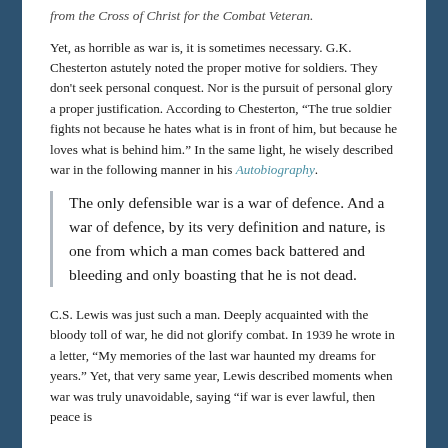from the Cross of Christ for the Combat Veteran.
Yet, as horrible as war is, it is sometimes necessary. G.K. Chesterton astutely noted the proper motive for soldiers. They don't seek personal conquest. Nor is the pursuit of personal glory a proper justification. According to Chesterton, “The true soldier fights not because he hates what is in front of him, but because he loves what is behind him.” In the same light, he wisely described war in the following manner in his Autobiography.
The only defensible war is a war of defence. And a war of defence, by its very definition and nature, is one from which a man comes back battered and bleeding and only boasting that he is not dead.
C.S. Lewis was just such a man. Deeply acquainted with the bloody toll of war, he did not glorify combat. In 1939 he wrote in a letter, “My memories of the last war haunted my dreams for years.” Yet, that very same year, Lewis described moments when war was truly unavoidable, saying “if war is ever lawful, then peace is